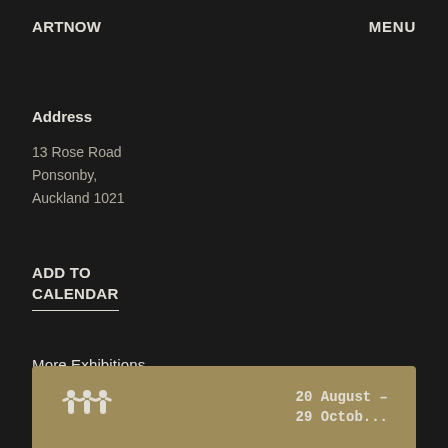ARTNOW    MENU
Address
13 Rose Road
Ponsonby,
Auckland 1021
ADD TO
CALENDAR
More Exhibitions
[Figure (other): Preview card with golden/tan background showing TMM logo icon on the left and date text '20 August – 29 Octob...' on the right]